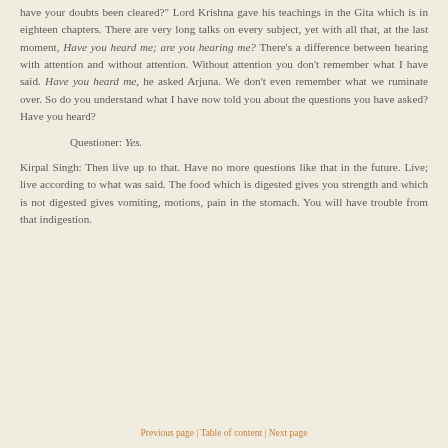have your doubts been cleared?" Lord Krishna gave his teachings in the Gita which is in eighteen chapters. There are very long talks on every subject, yet with all that, at the last moment, Have you heard me; are you hearing me? There's a difference between hearing with attention and without attention. Without attention you don't remember what I have said. Have you heard me, he asked Arjuna. We don't even remember what we ruminate over. So do you understand what I have now told you about the questions you have asked? Have you heard?
Questioner: Yes.
Kirpal Singh: Then live up to that. Have no more questions like that in the future. Live; live according to what was said. The food which is digested gives you strength and which is not digested gives vomiting, motions, pain in the stomach. You will have trouble from that indigestion.
Previous page | Table of content | Next page